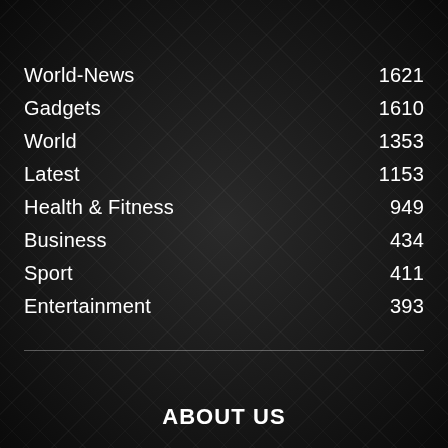World-News 1621
Gadgets 1610
World 1353
Latest 1153
Health & Fitness 949
Business 434
Sport 411
Entertainment 393
ABOUT US